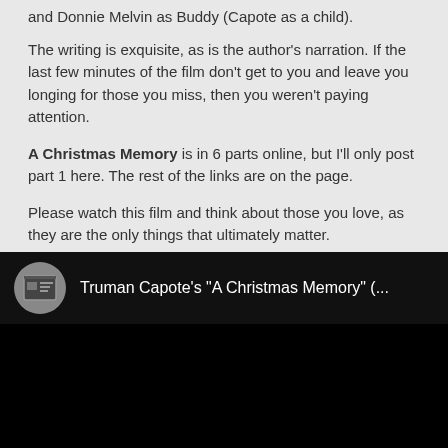and Donnie Melvin as Buddy (Capote as a child).
The writing is exquisite, as is the author's narration. If the last few minutes of the film don't get to you and leave you longing for those you miss, then you weren't paying attention.
A Christmas Memory is in 6 parts online, but I'll only post part 1 here. The rest of the links are on the page.
Please watch this film and think about those you love, as they are the only things that ultimately matter.
This one's for my Mother....
[Figure (screenshot): Embedded video player showing Truman Capote's 'A Christmas Memory' with a circular thumbnail icon and white title text on black background]